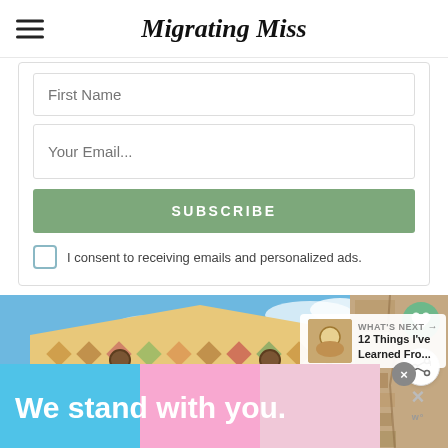Migrating Miss
First Name
Your Email...
SUBSCRIBE
I consent to receiving emails and personalized ads.
[Figure (photo): Looking up at a colorful ornate tiled building facade with diamond geometric patterns in red, yellow, green tones, with a ruined stone tower/wall visible to the right, against a blue sky with clouds.]
WHAT'S NEXT → 12 Things I've Learned Fro...
We stand with you.